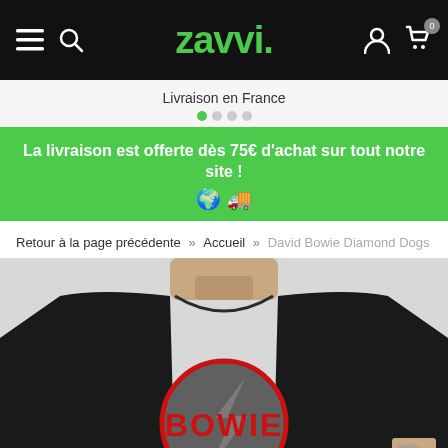ZAVVI navigation bar with hamburger menu, search icon, ZAVVI logo, user icon, and cart icon with badge 0
Livraison en France
La livraison est offerte dès 75€ d'achat sur tout notre site !
Retour à la page précédente » Accueil » David Bowie Diamond Dogs Men's
[Figure (photo): Man wearing a black t-shirt with red Bowie logo / David Bowie Diamond Dogs graphic on the chest]